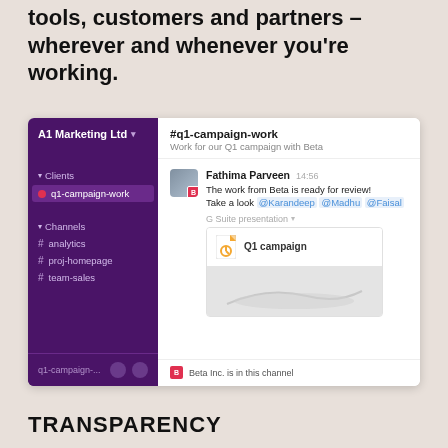tools, customers and partners – wherever and whenever you're working.
[Figure (screenshot): Slack-like messaging app screenshot showing A1 Marketing Ltd workspace with sidebar channels (q1-campaign-work active, analytics, proj-homepage, team-sales) and a chat in #q1-campaign-work channel where Fathima Parveen posts at 14:56 that 'The work from Beta is ready for review! Take a look @Karandeep @Madhu @Faisal' with a G Suite presentation attachment called 'Q1 campaign'. Footer shows 'Beta Inc. is in this channel'.]
TRANSPARENCY